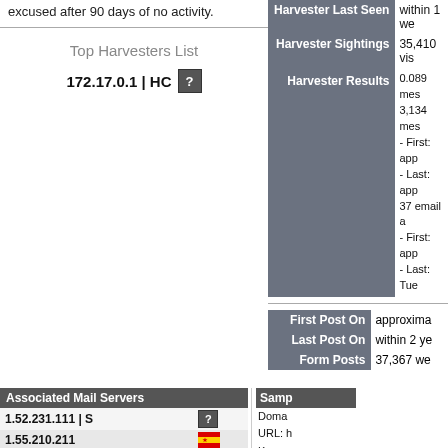excused after 90 days of no activity.
Top Harvesters List
172.17.0.1 | HC
|  |  |
| --- | --- |
| Harvester Last Seen | within 1 w... |
| Harvester Sightings | 35,410 vis... |
| Harvester Results | 0.089 mes...
3,134 mes...
- First: app...
- Last: app...
37 email a...
- First: app...
- Last: Tue... |
|  |  |
| --- | --- |
| First Post On | approxima... |
| Last Post On | within 2 ye... |
| Form Posts | 37,367 we... |
| Associated Mail Servers |  |
| --- | --- |
| 1.52.231.111 | S | ? |
| 1.55.210.211 | 🇻🇳 |
| 1.161.241.147 | SD | 🇹🇼 |
| 1.163.209.87 | SD | 🇹🇼 |
| 1.209.82.68 | SD | 🇰🇷 |
| 1.209.242.218 | SD | 🇰🇷 |
| 1.210.175.62 | SD | 🇰🇷 |
| 1.214.142.21 | SD | 🇰🇷 |
| 1.214.204.178 | SD | 🇰🇷 |
| 1.215.209.242 | SD | 🇰🇷 |
Samp... Doma... URL:... Keyw... Doma... URL:... buy-ne... Keyw... Doma... URL:... Keyw... Doma... URL:... Keyw...